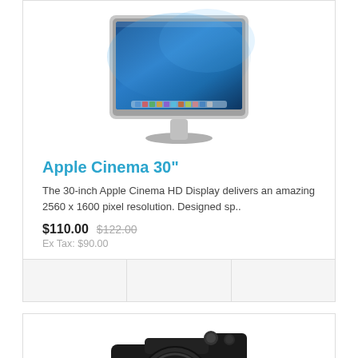[Figure (photo): Apple Cinema 30-inch monitor with silver stand and blue macOS desktop wallpaper]
Apple Cinema 30"
The 30-inch Apple Cinema HD Display delivers an amazing 2560 x 1600 pixel resolution. Designed sp..
$110.00  $122.00
Ex Tax: $90.00
[Figure (photo): Canon EOS 5D DSLR camera with Canon EF 50mm lens, black body]